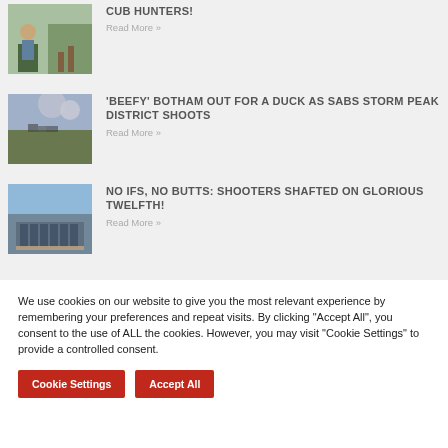CUB HUNTERS!
Read More »
'BEEFY' BOTHAM OUT FOR A DUCK AS SABS STORM PEAK DISTRICT SHOOTS
Read More »
NO IFS, NO BUTTS: SHOOTERS SHAFTED ON GLORIOUS TWELFTH!
Read More »
We use cookies on our website to give you the most relevant experience by remembering your preferences and repeat visits. By clicking "Accept All", you consent to the use of ALL the cookies. However, you may visit "Cookie Settings" to provide a controlled consent.